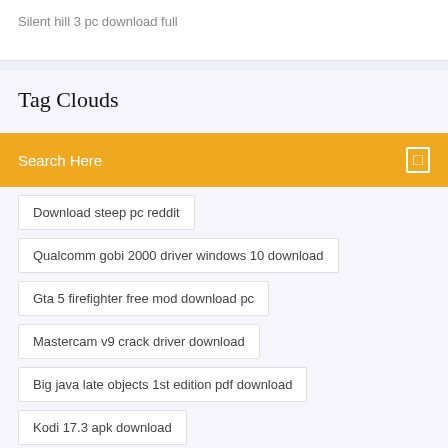Silent hill 3 pc download full
Tag Clouds
Search Here
Download steep pc reddit
Qualcomm gobi 2000 driver windows 10 download
Gta 5 firefighter free mod download pc
Mastercam v9 crack driver download
Big java late objects 1st edition pdf download
Kodi 17.3 apk download
The best mp3 downloader app